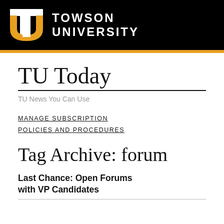TOWSON UNIVERSITY
TU Today
TU News You Can Use
MANAGE SUBSCRIPTION
POLICIES AND PROCEDURES
Tag Archive: forum
Last Chance: Open Forums with VP Candidates